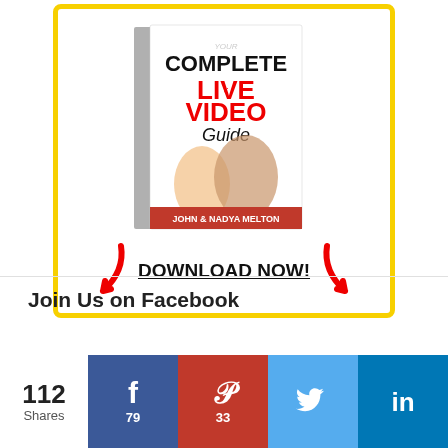[Figure (illustration): Book cover ad: 'Your Complete Live Video Guide' by John & Nadya Melton with cartoon avatars, yellow border, red arrows pointing down to DOWNLOAD NOW! text]
Join Us on Facebook
112 Shares
[Figure (infographic): Social share bar with Facebook (79), Pinterest (33), Twitter, and LinkedIn buttons]